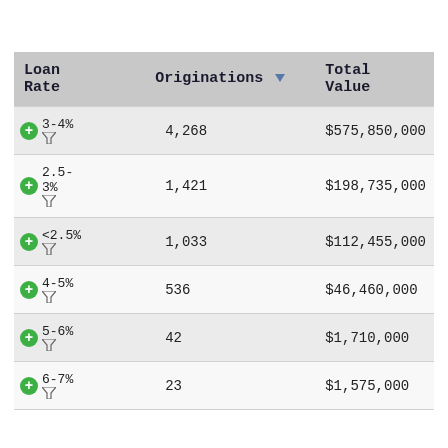| Loan Rate | Originations | Total Value |
| --- | --- | --- |
| 3-4% | 4,268 | $575,850,000 |
| 2.5-3% | 1,421 | $198,735,000 |
| <2.5% | 1,033 | $112,455,000 |
| 4-5% | 536 | $46,460,000 |
| 5-6% | 42 | $1,710,000 |
| 6-7% | 23 | $1,575,000 |